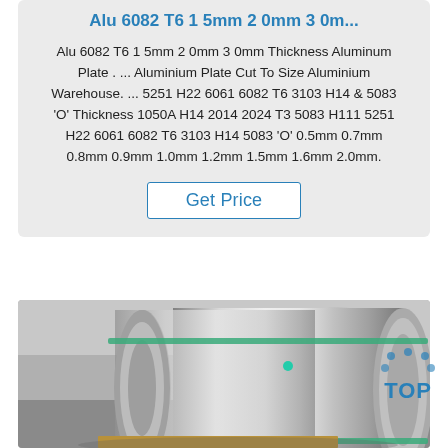Alu 6082 T6 1 5mm 2 0mm 3 0m...
Alu 6082 T6 1 5mm 2 0mm 3 0mm Thickness Aluminum Plate . ... Aluminium Plate Cut To Size Aluminium Warehouse. ... 5251 H22 6061 6082 T6 3103 H14 & 5083 'O' Thickness 1050A H14 2014 2024 T3 5083 H111 5251 H22 6061 6082 T6 3103 H14 5083 'O' 0.5mm 0.7mm 0.8mm 0.9mm 1.0mm 1.2mm 1.5mm 1.6mm 2.0mm.
Get Price
[Figure (photo): Large aluminum coil rolls stacked in an industrial warehouse setting, showing shiny metallic surface with green strapping bands]